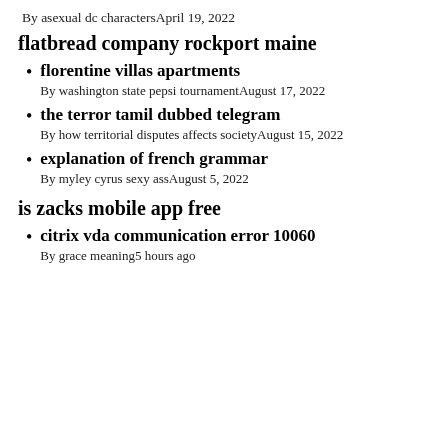By asexual dc charactersApril 19, 2022
flatbread company rockport maine
florentine villas apartments
By washington state pepsi tournamentAugust 17, 2022
the terror tamil dubbed telegram
By how territorial disputes affects societyAugust 15, 2022
explanation of french grammar
By myley cyrus sexy assAugust 5, 2022
is zacks mobile app free
citrix vda communication error 10060
By grace meaning5 hours ago